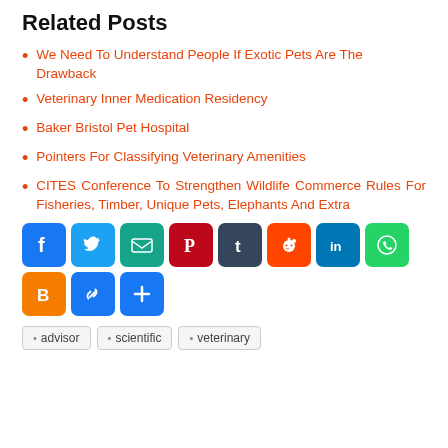Related Posts
We Need To Understand People If Exotic Pets Are The Drawback
Veterinary Inner Medication Residency
Baker Bristol Pet Hospital
Pointers For Classifying Veterinary Amenities
CITES Conference To Strengthen Wildlife Commerce Rules For Fisheries, Timber, Unique Pets, Elephants And Extra
[Figure (infographic): Row of social media sharing buttons: Facebook (blue), Twitter (blue), Email (teal), Pinterest (dark red), Tumblr (dark navy), Reddit (orange-red), LinkedIn (blue), WhatsApp (green), Blogger (orange), Copy Link (blue), and a plus/more button (blue)]
advisor
scientific
veterinary